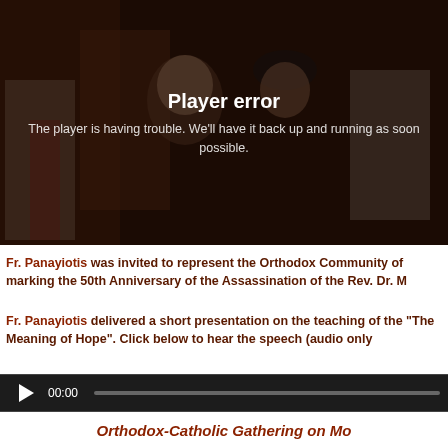[Figure (screenshot): Video player showing clergy at a gathering. Player error overlay displayed: 'Player error' and 'The player is having trouble. We'll have it back up and running as soon as possible.']
Fr. Panayiotis was invited to represent the Orthodox Community of marking the 50th Anniversary of the Assassination of the Rev. Dr. M
Fr. Panayiotis delivered a short presentation on the teaching of the "The Meaning of Hope". Click below to hear the speech (audio only
[Figure (screenshot): Audio player bar with play button, 00:00 timestamp, and progress bar]
Orthodox-Catholic Gathering on Mo